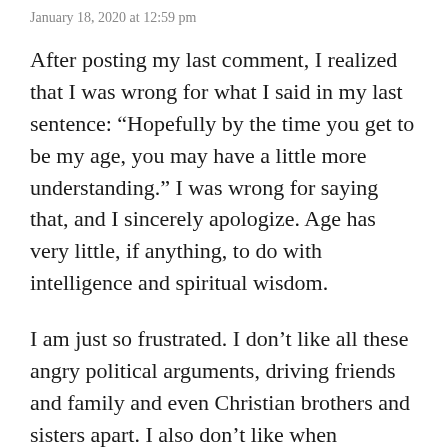January 18, 2020 at 12:59 pm
After posting my last comment, I realized that I was wrong for what I said in my last sentence: “Hopefully by the time you get to be my age, you may have a little more understanding.” I was wrong for saying that, and I sincerely apologize. Age has very little, if anything, to do with intelligence and spiritual wisdom.
I am just so frustrated. I don’t like all these angry political arguments, driving friends and family and even Christian brothers and sisters apart. I also don’t like when someone puts words in my mouth and misrepresenting what I said to prove their